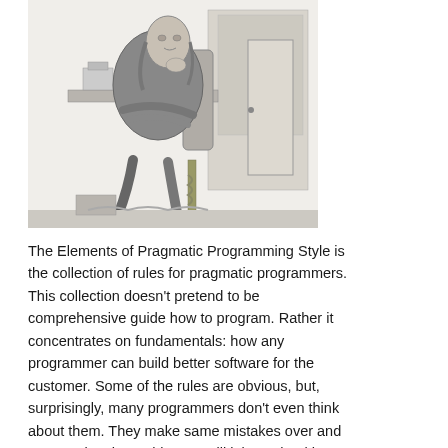[Figure (illustration): A black and white engraving of a scholarly figure in historical clothing, seated in a chair with arms crossed and hand raised to chin in a thinking pose, with a desk and study furniture visible in the background.]
The Elements of Pragmatic Programming Style is the collection of rules for pragmatic programmers. This collection doesn't pretend to be comprehensive guide how to program. Rather it concentrates on fundamentals: how any programmer can build better software for the customer. Some of the rules are obvious, but, surprisingly, many programmers don't even think about them. They make same mistakes over and over again. I hope this post will inject a healthy dose of pragmatism into your programming